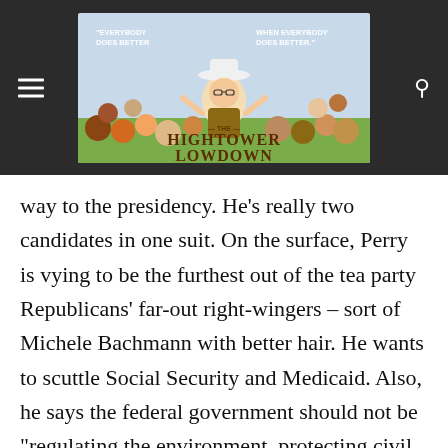[Figure (logo): Hightower Lowdown website header banner with dark background, hamburger menu icon on left, search icon on right, and central banner image reading 'The Hightower Lowdown' with quote 'Everybody Does Better When Everybody Does Better' and an illustration of Jim Hightower among a crowd.]
way to the presidency. He’s really two candidates in one suit. On the surface, Perry is vying to be the furthest out of the tea party Republicans’ far-out right-wingers – sort of Michele Bachmann with better hair. He wants to scuttle Social Security and Medicaid. Also, he says the federal government should not be “regulating the environment, protecting civil rights… [or